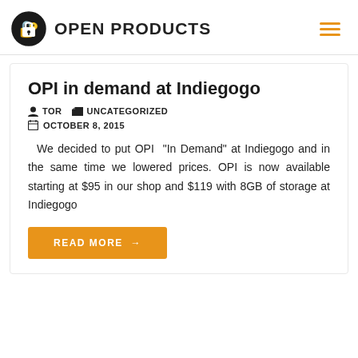OPEN PRODUCTS
OPI in demand at Indiegogo
TOR   UNCATEGORIZED
OCTOBER 8, 2015
We decided to put OPI “In Demand” at Indiegogo and in the same time we lowered prices. OPI is now available starting at $95 in our shop and $119 with 8GB of storage at Indiegogo
READ MORE →